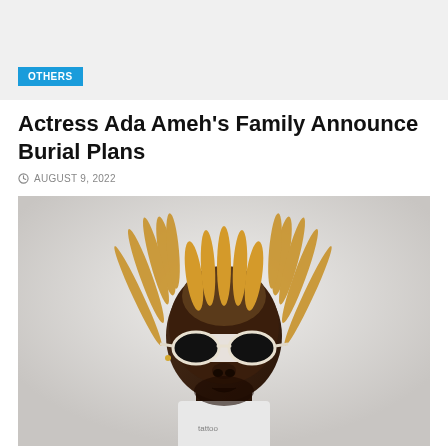[Figure (photo): Top banner image area with light gray background]
OTHERS
Actress Ada Ameh's Family Announce Burial Plans
AUGUST 9, 2022
[Figure (photo): Photo of a young Black man with blonde dreadlocks, white oval sunglasses, looking upward against a white/light gray background]